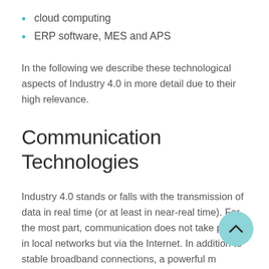cloud computing
ERP software, MES and APS
In the following we describe these technological aspects of Industry 4.0 in more detail due to their high relevance.
Communication Technologies
Industry 4.0 stands or falls with the transmission of data in real time (or at least in near-real time). For the most part, communication does not take place in local networks but via the Internet. In addition to stable broadband connections, a powerful mobile communications standard is required, which is currently being established in the form of 5G.